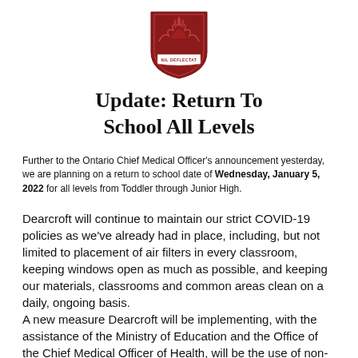[Figure (logo): School crest/shield with motto NIL DEFLECTAT, dark red/maroon color with flame and wings motif]
Update: Return To School All Levels
Further to the Ontario Chief Medical Officer's announcement yesterday, we are planning on a return to school date of Wednesday, January 5, 2022 for all levels from Toddler through Junior High.
Dearcroft will continue to maintain our strict COVID-19 policies as we've already had in place, including, but not limited to placement of air filters in every classroom, keeping windows open as much as possible, and keeping our materials, classrooms and common areas clean on a daily, ongoing basis. A new measure Dearcroft will be implementing, with the assistance of the Ministry of Education and the Office of the Chief Medical Officer of Health, will be the use of non-fit-tested N95 masks for all staff at Dearcroft. Non-fit-tested N95 masks are at the...